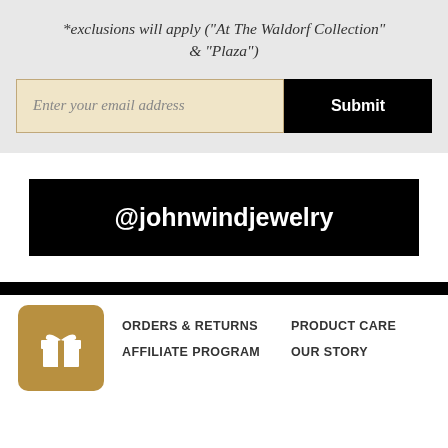*exclusions will apply ("At The Waldorf Collection" & "Plaza")
[Figure (screenshot): Email input field with placeholder 'Enter your email address' and a black Submit button]
[Figure (screenshot): Black banner with white text '@johnwindjewelry']
[Figure (screenshot): Gold gift icon box, navigation links: ORDERS & RETURNS, PRODUCT CARE, AFFILIATE PROGRAM, OUR STORY]